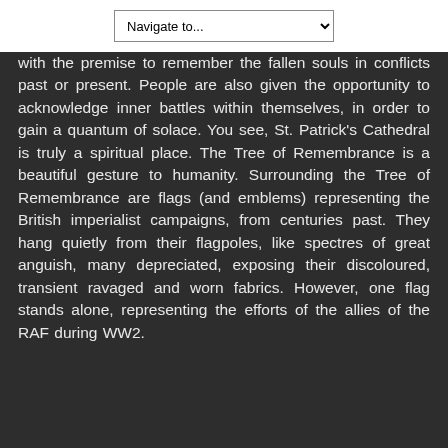Navigate to...
with the premise to remember the fallen souls in conflicts past or present. People are also given the opportunity to acknowledge inner battles within themselves, in order to gain a quantum of solace. You see, St. Patrick’s Cathedral is truly a spiritual place. The Tree of Remembrance is a beautiful gesture to humanity. Surrounding the Tree of Remembrance are flags (and emblems) representing the British imperialist campaigns, from centuries past. They hang quietly from their flagpoles, like spectres of great anguish, many depreciated, exposing their discoloured, transient ravaged and worn fabrics. However, one flag stands alone, representing the efforts of the allies of the RAF during WW2.